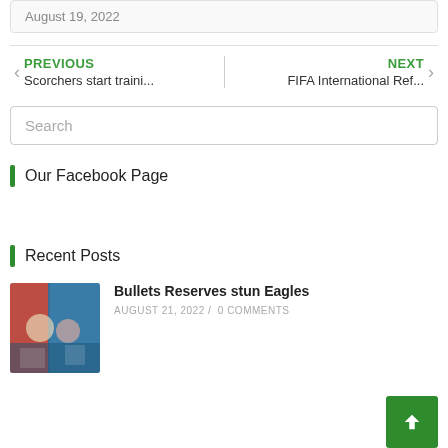August 19, 2022
← PREVIOUS
Scorchers start traini...
NEXT →
FIFA International Ref...
Search
Our Facebook Page
Recent Posts
Bullets Reserves stun Eagles
AUGUST 21, 2022 / 0 COMMENTS